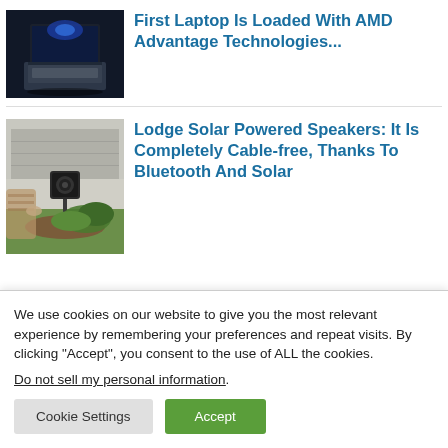[Figure (photo): Photo of a dark laptop computer with blue lighting from above]
First Laptop Is Loaded With AMD Advantage Technologies...
[Figure (photo): Photo of an outdoor solar-powered speaker on a stake in garden with person sitting nearby]
Lodge Solar Powered Speakers: It Is Completely Cable-free, Thanks To Bluetooth And Solar
We use cookies on our website to give you the most relevant experience by remembering your preferences and repeat visits. By clicking “Accept”, you consent to the use of ALL the cookies.
Do not sell my personal information.